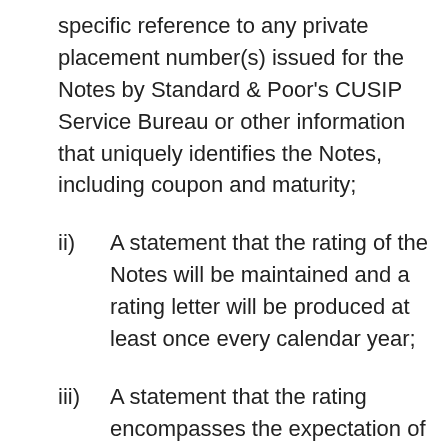specific reference to any private placement number(s) issued for the Notes by Standard & Poor's CUSIP Service Bureau or other information that uniquely identifies the Notes, including coupon and maturity;
ii) A statement that the rating of the Notes will be maintained and a rating letter will be produced at least once every calendar year;
iii) A statement that the rating encompasses the expectation of timely payment of principal and interest as scheduled; and